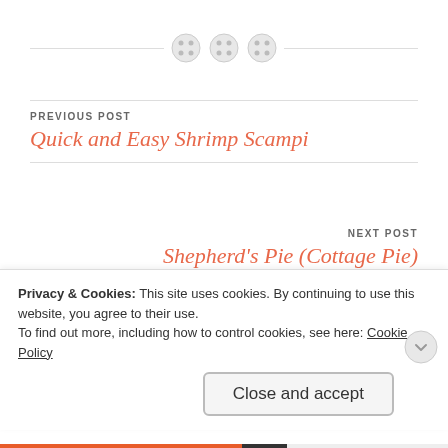[Figure (illustration): Three decorative button icons arranged horizontally on a dashed horizontal divider line]
PREVIOUS POST
Quick and Easy Shrimp Scampi
NEXT POST
Shepherd's Pie (Cottage Pie)
16 thoughts on “Potato Rosemary…
Privacy & Cookies: This site uses cookies. By continuing to use this website, you agree to their use.
To find out more, including how to control cookies, see here: Cookie Policy
Close and accept